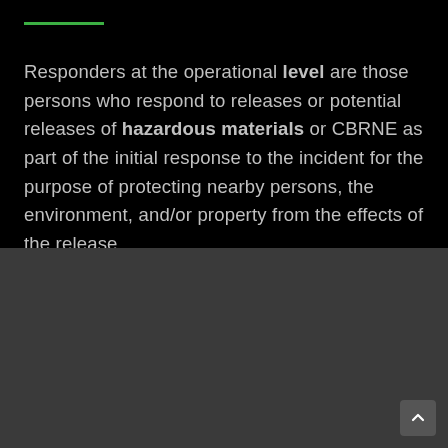Responders at the operational level are those persons who respond to releases or potential releases of hazardous materials or CBRNE as part of the initial response to the incident for the purpose of protecting nearby persons, the environment, and/or property from the effects of the release